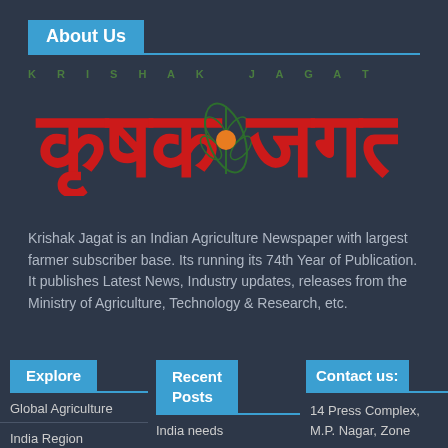About Us
[Figure (logo): Krishak Jagat logo with Hindi/Kannada script text in red, a green wheat leaf and orange sun emblem, and 'KRISHAK JAGAT' in green spaced letters above]
Krishak Jagat is an Indian Agriculture Newspaper with largest farmer subscriber base. Its running its 74th Year of Publication. It publishes Latest News, Industry updates, releases from the Ministry of Agriculture, Technology & Research, etc.
Explore
Recent Posts
Contact us:
Global Agriculture
India Region
India needs
14 Press Complex, M.P. Nagar, Zone